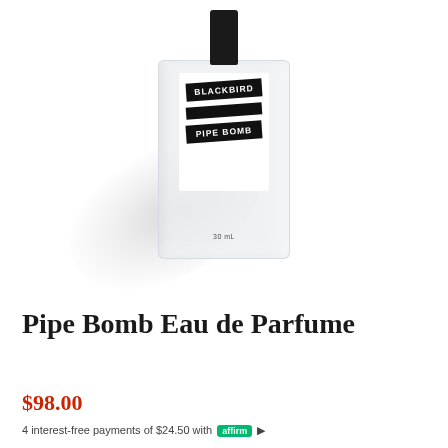[Figure (photo): Frosted glass perfume bottle with black cap, labeled BLACKBIRD / PIPE BOMB, 30 mL, floating with shadow]
Pipe Bomb Eau de Parfume
$98.00
4 interest-free payments of $24.50 with affirm